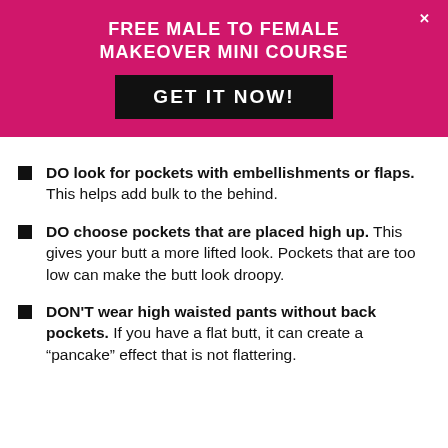FREE MALE TO FEMALE MAKEOVER MINI COURSE
GET IT NOW!
DO look for pockets with embellishments or flaps. This helps add bulk to the behind.
DO choose pockets that are placed high up. This gives your butt a more lifted look. Pockets that are too low can make the butt look droopy.
DON'T wear high waisted pants without back pockets. If you have a flat butt, it can create a “pancake” effect that is not flattering.